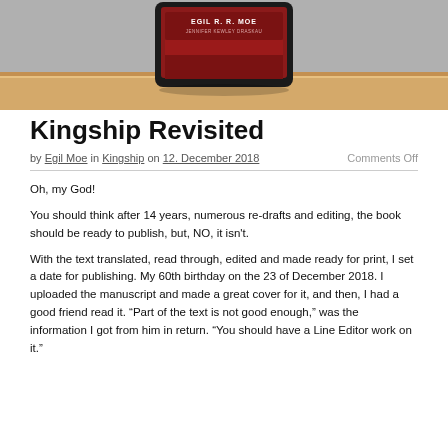[Figure (photo): Photo of a tablet or e-reader device displaying a book cover for 'Kingship' by Egil R. R. Moe and Jennifer Kewley Draskau, placed on a wooden surface. The book cover is dark red/maroon with white text.]
Kingship Revisited
by Egil Moe in Kingship on 12. December 2018    Comments Off
Oh, my God!
You should think after 14 years, numerous re-drafts and editing, the book should be ready to publish, but, NO, it isn't.
With the text translated, read through, edited and made ready for print, I set a date for publishing. My 60th birthday on the 23 of December 2018. I uploaded the manuscript and made a great cover for it, and then, I had a good friend read it. “Part of the text is not good enough,” was the information I got from him in return. “You should have a Line Editor work on it.”